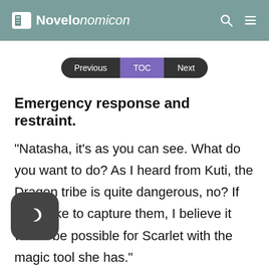Novelonomicon
Previous  TOC  Next
Emergency response and restraint.
“Natasha, it's as you can see. What do you want to do? As I heard from Kuti, the Dragon tribe is quite dangerous, no? If you'd like to capture them, I believe it would be possible for Scarlet with the magic tool she has.”